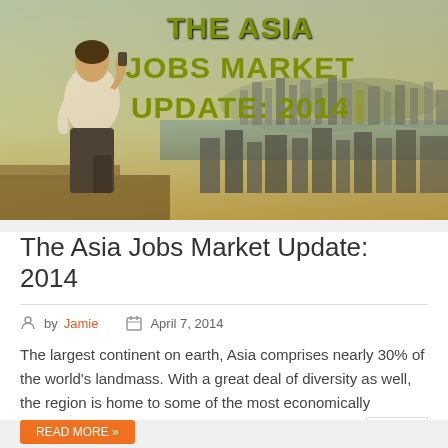[Figure (photo): Hero image showing a businessman in a white shirt and dark trousers, viewed from behind, standing on a high vantage point overlooking the Hong Kong skyline and harbor. Large olive/yellow-green bold text on the right side reads 'THE ASIA JOBS MARKET UPDATE: 2014'. The image has a warm vintage color grading.]
The Asia Jobs Market Update: 2014
by Jamie   April 7, 2014
The largest continent on earth, Asia comprises nearly 30% of the world's landmass. With a great deal of diversity as well, the region is home to some of the most economically competitive states/ nations – ...